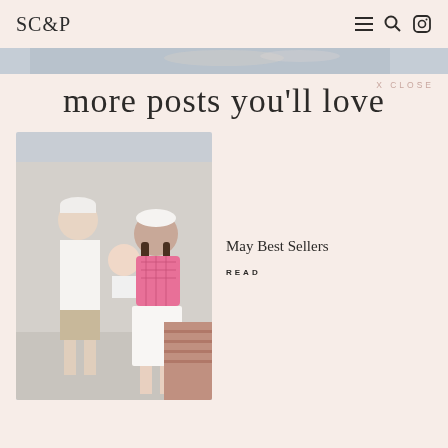SC&P
[Figure (photo): Banner photo strip showing a wedding couple at the top]
more posts you'll love
X CLOSE
[Figure (photo): A family photo with a man in white polo and cap, a woman in pink gingham halter and white skirt holding a baby]
May Best Sellers
READ